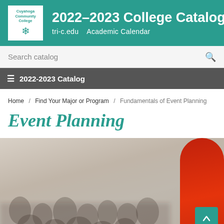2022–2023 College Catalog  tri-c.edu  Academic Calendar
Search catalog
≡  2022-2023 Catalog
Home / Find Your Major or Program / Fundamentals of Event Planning
Event Planning
[Figure (photo): Blurred photo of a crowd of people seated at an event, with a person in red visible on the right side of the frame.]